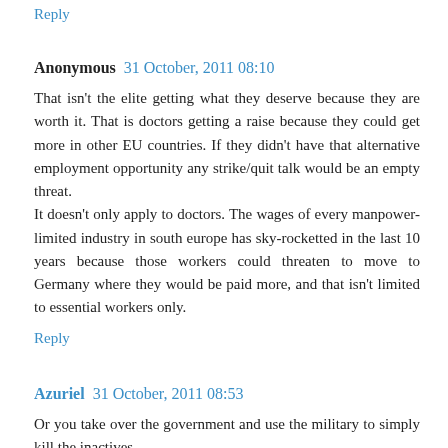Reply
Anonymous 31 October, 2011 08:10
That isn't the elite getting what they deserve because they are worth it. That is doctors getting a raise because they could get more in other EU countries. If they didn't have that alternative employment opportunity any strike/quit talk would be an empty threat.
It doesn't only apply to doctors. The wages of every manpower-limited industry in south europe has sky-rocketted in the last 10 years because those workers could threaten to move to Germany where they would be paid more, and that isn't limited to essential workers only.
Reply
Azuriel 31 October, 2011 08:53
Or you take over the government and use the military to simply kill the inactives.